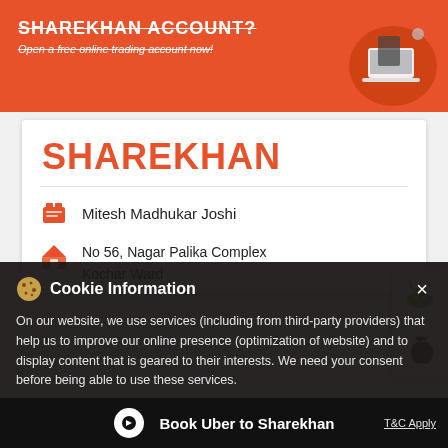[Figure (screenshot): Orange Sharekhan banner with text 'SHAREKHAN ACCOUNT?' and 'Open a free online trading account now!' with illustration of laptop/phone on a red circle]
SHAREKHAN
Mitesh Madhukar Joshi
No 56, Nagar Palika Complex
Kochar Ward
Wardha - 442301
Cookie Information
On our website, we use services (including from third-party providers) that help us to improve our online presence (optimization of website) and to display content that is geared to their interests. We need your consent before being able to use these services.
Book Uber to Sharekhan
T&C Apply